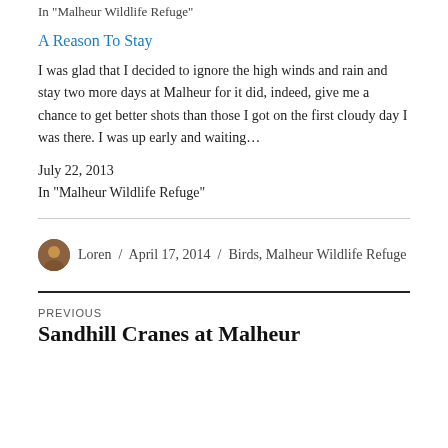In "Malheur Wildlife Refuge"
A Reason To Stay
I was glad that I decided to ignore the high winds and rain and stay two more days at Malheur for it did, indeed, give me a chance to get better shots than those I got on the first cloudy day I was there. I was up early and waiting…
July 22, 2013
In "Malheur Wildlife Refuge"
Loren / April 17, 2014 / Birds, Malheur Wildlife Refuge
PREVIOUS
Sandhill Cranes at Malheur